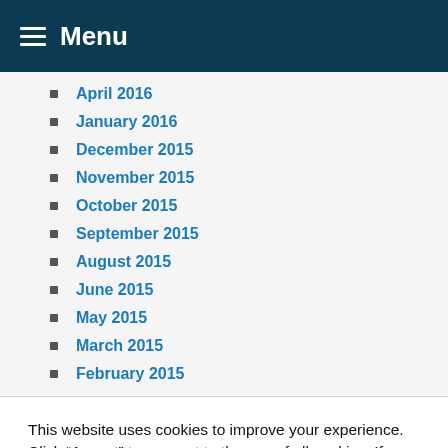Menu
April 2016
January 2016
December 2015
November 2015
October 2015
September 2015
August 2015
June 2015
May 2015
March 2015
February 2015
This website uses cookies to improve your experience. Click “Accept” to consent to the use of all cookies. If you wish to opt out, go to Cookie settings.
Cookie settings  ACCEPT